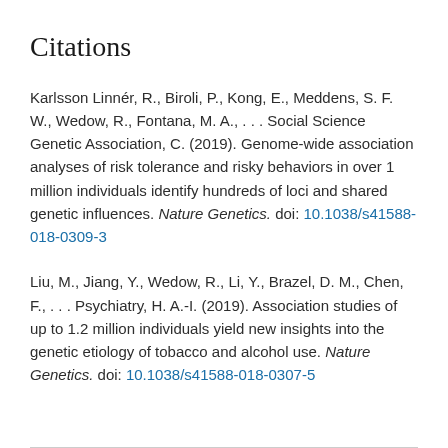Citations
Karlsson Linnér, R., Biroli, P., Kong, E., Meddens, S. F. W., Wedow, R., Fontana, M. A., . . . Social Science Genetic Association, C. (2019). Genome-wide association analyses of risk tolerance and risky behaviors in over 1 million individuals identify hundreds of loci and shared genetic influences. Nature Genetics. doi: 10.1038/s41588-018-0309-3
Liu, M., Jiang, Y., Wedow, R., Li, Y., Brazel, D. M., Chen, F., . . . Psychiatry, H. A.-I. (2019). Association studies of up to 1.2 million individuals yield new insights into the genetic etiology of tobacco and alcohol use. Nature Genetics. doi: 10.1038/s41588-018-0307-5